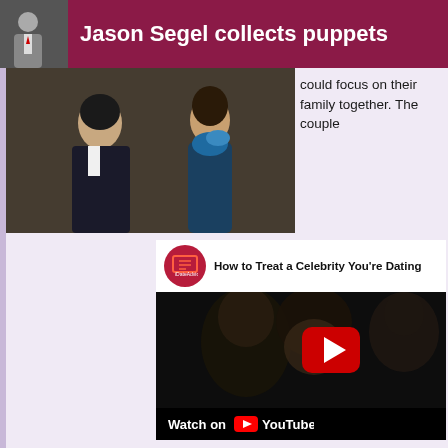Jason Segel collects puppets
[Figure (photo): Photo of a couple at a formal event, man in suit, woman in blue dress]
could focus on their family together. The couple
[Figure (screenshot): YouTube embedded video: How to Treat a Celebrity You're Dating, iDateAdvice channel, showing a dark thumbnail of two people with a YouTube play button overlay and 'Watch on YouTube' bar at the bottom]